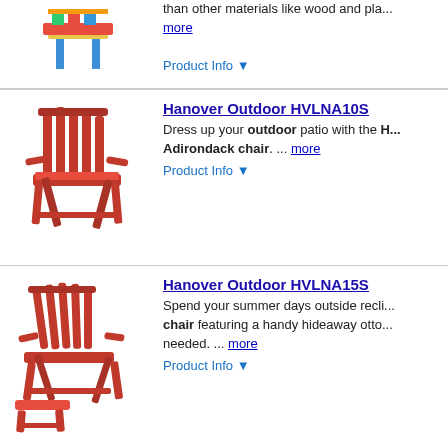[Figure (photo): Partial product image at top (colorful chair, cropped)]
than other materials like wood and pla... more
Product Info ▼
[Figure (photo): Red Adirondack chair product image]
Hanover Outdoor HVLNA10S... Dress up your outdoor patio with the ... Adirondack chair. ... more
Product Info ▼
[Figure (photo): Red reclining Adirondack chair with ottoman product image]
Hanover Outdoor HVLNA15S... Spend your summer days outside recli... chair featuring a handy hideaway ott... needed. ... more
Product Info ▼
Ads related to hanover outdoor hvlna10li lime hdpe all ...
t Connexity | Store Ratings | Top Products | Sitemap | Privacy Policy | User Agreement
es are responsible for providing Bizrate with correct and current prices. Sales taxes a...